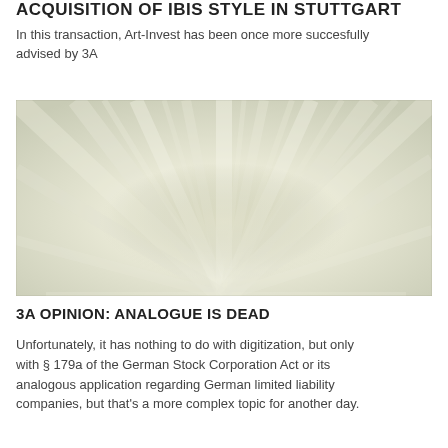ACQUISITION OF IBIS STYLE IN STUTTGART
In this transaction, Art-Invest has been once more succesfully advised by 3A
[Figure (photo): Abstract close-up photo of radiating light streaks in cream and pale green tones, resembling a corridor or architectural interior with blurred perspective lines converging toward center.]
3A OPINION: ANALOGUE IS DEAD
Unfortunately, it has nothing to do with digitization, but only with § 179a of the German Stock Corporation Act or its analogous application regarding German limited liability companies, but that's a more complex topic for another day.